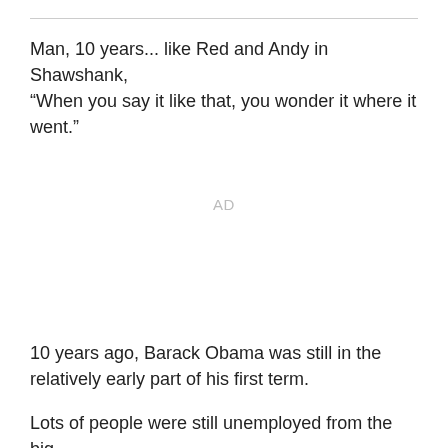Man, 10 years... like Red and Andy in Shawshank, “When you say it like that, you wonder it where it went.”
AD
10 years ago, Barack Obama was still in the relatively early part of his first term.
Lots of people were still unemployed from the big